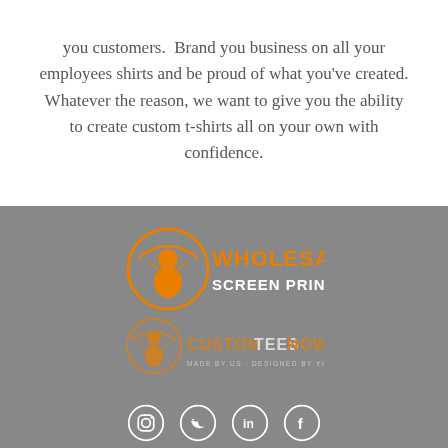you customers.  Brand you business on all your employees shirts and be proud of what you've created. Whatever the reason, we want to give you the ability to create custom t-shirts all on your own with confidence.
[Figure (logo): Wholesale Screen Printing logo with orange parachute man icon and orange/white text]
[Figure (logo): CustomTeesNow logo with orange parachute man icon and orange text, MADE BY US · DESIGNED BY YOU tagline]
[Figure (infographic): Social media icons: Instagram, Twitter, LinkedIn, Facebook in white circles on gray background]
Navigate
Custom T-shirts